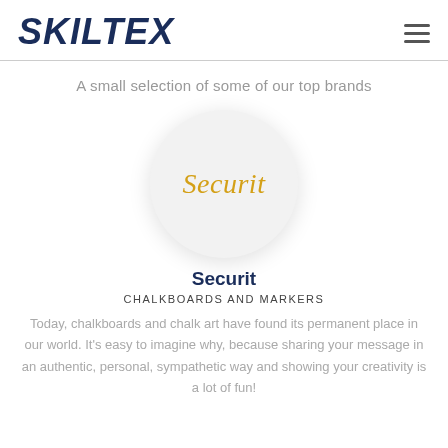SKILTEX
A small selection of some of our top brands
[Figure (logo): Securit brand logo in a white circle with drop shadow, showing the word 'Securit' in gold/yellow italic serif font]
Securit
CHALKBOARDS AND MARKERS
Today, chalkboards and chalk art have found its permanent place in our world. It's easy to imagine why, because sharing your message in an authentic, personal, sympathetic way and showing your creativity is a lot of fun!